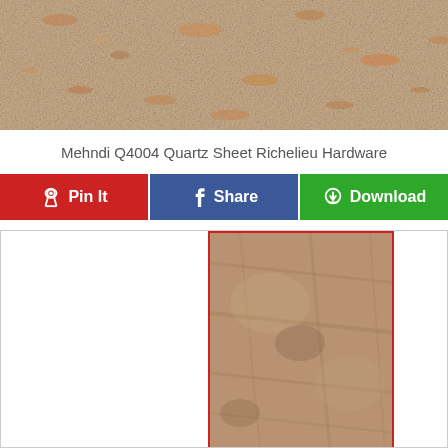[Figure (photo): Close-up photo of Mehndi Q4004 Quartz sheet material showing beige/cream texture with copper and brown speckles]
Mehndi Q4004 Quartz Sheet Richelieu Hardware
[Figure (infographic): Three social sharing buttons: Pin It (red, Pinterest), Share (blue, Facebook), Download (green)]
[Figure (photo): Zoomed/cropped view of the Mehndi Q4004 Quartz sheet material with red border outline, showing tan/brown stone texture]